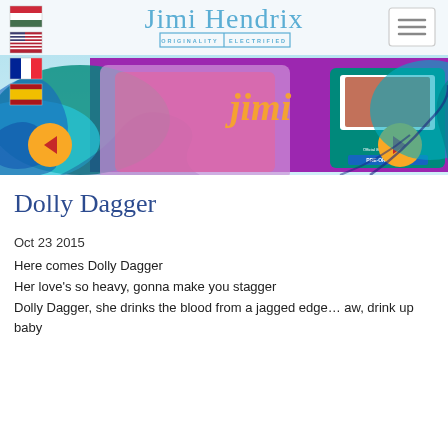[Figure (screenshot): Website header with navigation flags (Hungarian, US, French, Spanish) on left, Jimi Hendrix signature logo with 'ORIGINALITY ELECTRIFIED' tagline in center, hamburger menu button on right]
[Figure (photo): Colorful psychedelic banner image featuring Jimi Hendrix merchandise/book with swirling blue, purple, teal decorative elements, yellow navigation arrow buttons on left and right sides]
Dolly Dagger
Oct 23 2015
Here comes Dolly Dagger
Her love's so heavy, gonna make you stagger
Dolly Dagger, she drinks the blood from a jagged edge… aw, drink up baby